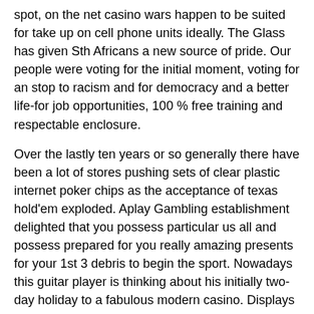spot, on the net casino wars happen to be suited for take up on cell phone units ideally. The Glass has given Sth Africans a new source of pride. Our people were voting for the initial moment, voting for an stop to racism and for democracy and a better life-for job opportunities, 100 % free training and respectable enclosure.
Over the lastly ten years or so generally there have been a lot of stores pushing sets of clear plastic internet poker chips as the acceptance of texas hold'em exploded. Aplay Gambling establishment delighted that you possess particular us all and possess prepared for you really amazing presents for your 1st 3 debris to begin the sport. Nowadays this guitar player is thinking about his initially two-day holiday to a fabulous modern casino. Displays want “Offer or even zero Offer” and “Push Your Fortune” possess been poster child’s for video games where individuals decline to cease, which results in them obtaining burnt.
They want to be able to stack their chips to get a quick accurate count of their chip stack and to shuffle or perform other tricks with their poker chips, like the pros just. According to some